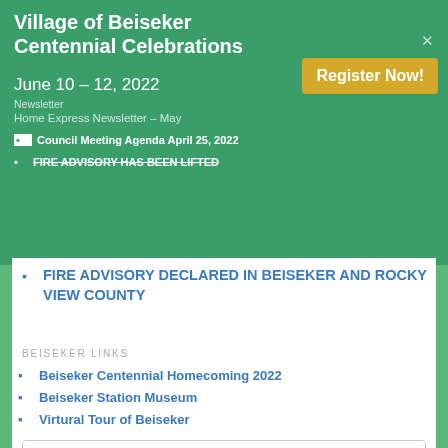Village of Beiseker Centennial Celebrations June 10 – 12, 2022
Register Now!
Newsletter
Home Express Newsletter – May
Council Meeting Agenda April 25, 2022
FIRE ADVISORY HAS BEEN LIFTED
FIRE ADVISORY DECLARED IN BEISEKER AND ROCKY VIEW COUNTY
BEISEKER LINKS
Beiseker Centennial Homecoming 2022
Beiseker Station Museum
Virtural Tour of Beiseker
Search
VILLAGE OF BEISEKER
Box 349
700, 1st Ave
Beiseker, AB T0M 0G0